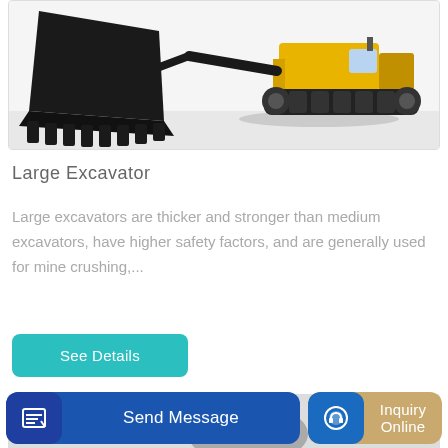[Figure (photo): A large excavator bucket in black with teeth in the foreground, and a yellow tracked excavator machine in the background on a white surface.]
Large Excavator
Large excavators are thicker and stronger than medium excavators, have higher safety factors, and are generally used for mine crushing,...
See Details
[Figure (photo): Partial view of a mechanical/hydraulic attachment for excavator at the bottom of the page.]
Send Message
Inquiry Online